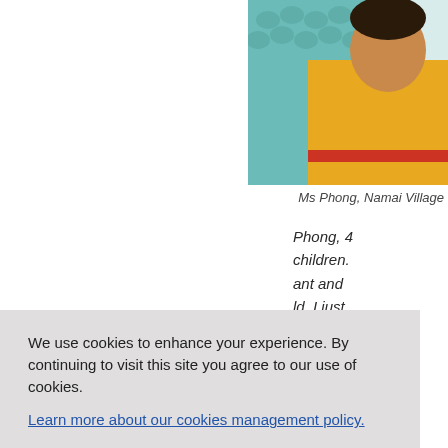[Figure (photo): Woman in yellow and teal patterned clothing, photo partially visible in top-right corner]
Ms Phong, Namai Village
Phong, 4… children. …ant and …ld, I just …s working …ery good …rted hou… received …nse, I go… cash. It helped…
We use cookies to enhance your experience. By continuing to visit this site you agree to our use of cookies.
Learn more about our cookies management policy.
Opt out of analytics cookies - click here
Accept all cookies